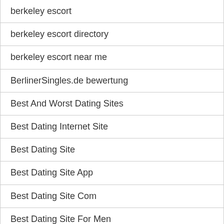berkeley escort
berkeley escort directory
berkeley escort near me
BerlinerSingles.de bewertung
Best And Worst Dating Sites
Best Dating Internet Site
Best Dating Site
Best Dating Site App
Best Dating Site Com
Best Dating Site For Men
Best Dating Site For Open Relationships
Best Dating Site In Usa
Best Dating Site In Usa For Free